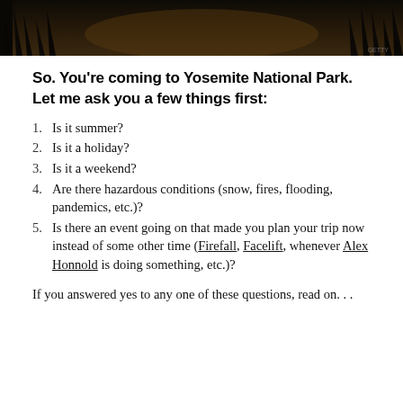[Figure (photo): Dark moody forest/tree silhouettes with overcast sky, partial view at top of page]
So. You're coming to Yosemite National Park. Let me ask you a few things first:
Is it summer?
Is it a holiday?
Is it a weekend?
Are there hazardous conditions (snow, fires, flooding, pandemics, etc.)?
Is there an event going on that made you plan your trip now instead of some other time (Firefall, Facelift, whenever Alex Honnold is doing something, etc.)?
If you answered yes to any one of these questions, read on. . .